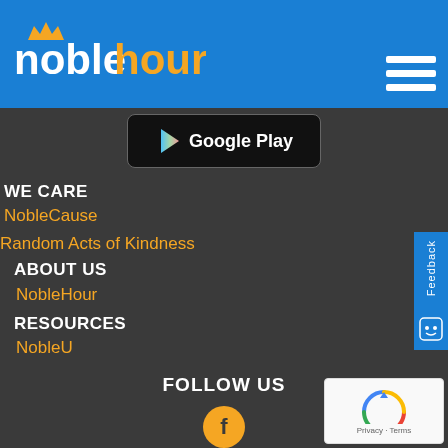[Figure (logo): NobleHour logo with crown icon, 'noble' in white and 'hour' in orange/yellow on blue background]
[Figure (screenshot): Hamburger menu icon (three white horizontal lines) in top right of blue header]
[Figure (screenshot): Google Play button with play arrow icon on dark background]
WE CARE
NobleCause
Random Acts of Kindness
ABOUT US
NobleHour
RESOURCES
NobleU
FOLLOW US
[Figure (infographic): Social media icons: Facebook (f), Twitter (bird), LinkedIn (in) — circular orange buttons stacked vertically]
[Figure (screenshot): Feedback tab on right side — blue vertical tab with 'Feedback' text rotated and smiley face icon]
[Figure (screenshot): reCAPTCHA box in bottom right corner with Google logo and Privacy - Terms text]